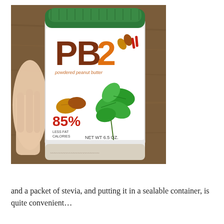[Figure (photo): A hand holding a jar of PB2 Powdered Peanut Butter with a green lid. The white label shows the PB2 logo in brown and orange letters, with illustrations of peanuts and green leaves, '85%' in red, and 'NET WT 6.5 OZ' at the bottom. The background is a wooden surface.]
and a packet of stevia, and putting it in a sealable container, is quite convenient…